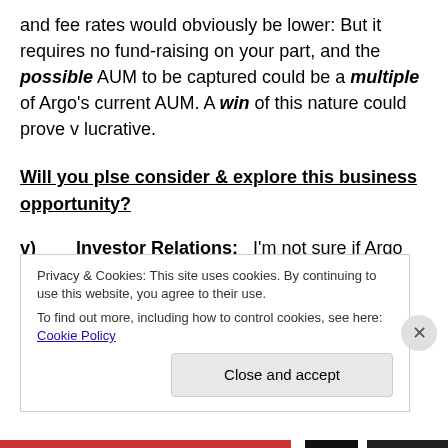and fee rates would obviously be lower: But it requires no fund-raising on your part, and the possible AUM to be captured could be a multiple of Argo's current AUM. A win of this nature could prove v lucrative.
Will you plse consider & explore this business opportunity?
v)   Investor Relations:   I'm not sure if Argo conducts any enhanced IR activities, such as presentations & investor meetings? Considering the current share price, this offers you a real platform for improving your visibility...
Privacy & Cookies: This site uses cookies. By continuing to use this website, you agree to their use.
To find out more, including how to control cookies, see here: Cookie Policy
Close and accept